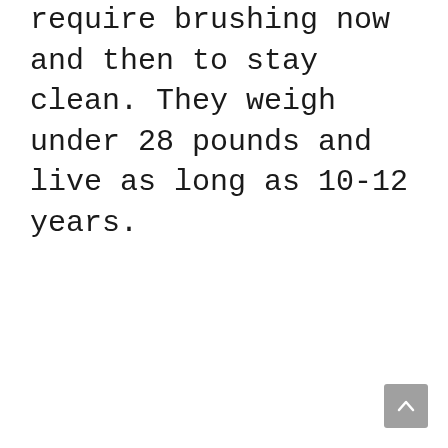require brushing now and then to stay clean. They weigh under 28 pounds and live as long as 10-12 years.